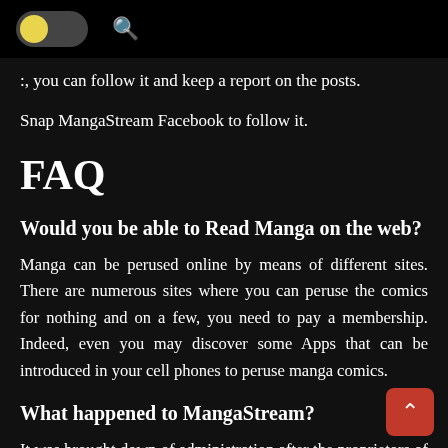toggle switch and search icon UI controls
:, you can follow it and keep a report on the posts.
Snap MangaStream Facebook to follow it.
FAQ
Would you be able to Read Manga on the web?
Manga can be perused online by means of different sites. There are numerous sites where you can peruse the comics for nothing and on a few, you need to pay a membership. Indeed, even you may discover some Apps that can be introduced in your cell phones to peruse manga comics.
What happened to MangaStream?
It was brought down of administration after the proprietors of the first manga comics forced them to do as such.
Is MangaStream Illegal?